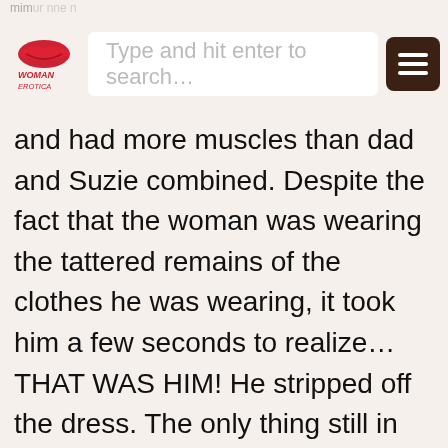Type and hit enter to search...
and had more muscles than dad and Suzie combined. Despite the fact that the woman was wearing the tattered remains of the clothes he was wearing, it took him a few seconds to realize… THAT WAS HIM! He stripped off the dress. The only thing still in good shape was the slip. He was